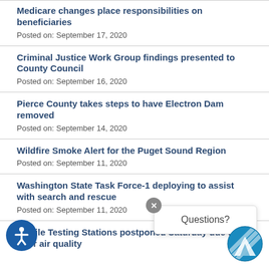Medicare changes place responsibilities on beneficiaries
Posted on: September 17, 2020
Criminal Justice Work Group findings presented to County Council
Posted on: September 16, 2020
Pierce County takes steps to have Electron Dam removed
Posted on: September 14, 2020
Wildfire Smoke Alert for the Puget Sound Region
Posted on: September 11, 2020
Washington State Task Force-1 deploying to assist with search and rescue
Posted on: September 11, 2020
Mobile Testing Stations postponed Saturday due to poor air quality